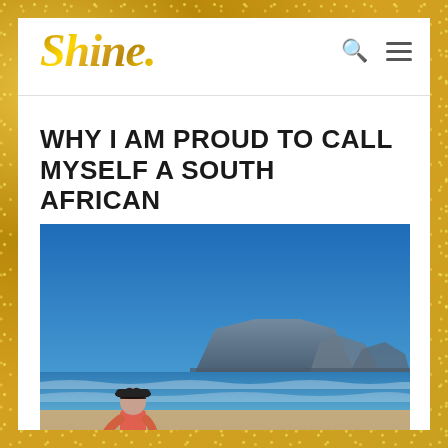Shine.
WHY I AM PROUD TO CALL MYSELF A SOUTH AFRICAN
[Figure (photo): Woman in a pink top, hat, and shorts standing on a sandy beach looking toward Table Mountain in Cape Town, South Africa. Clear blue sky, ocean waves visible.]